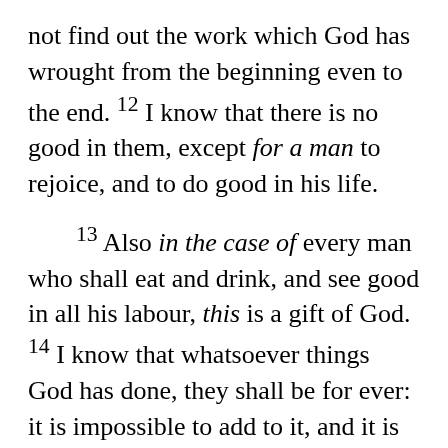not find out the work which God has wrought from the beginning even to the end. 12 I know that there is no good in them, except for a man to rejoice, and to do good in his life. 13 Also in the case of every man who shall eat and drink, and see good in all his labour, this is a gift of God. 14 I know that whatsoever things God has done, they shall be for ever: it is impossible to add to it, and it is impossible to take away from it: and God has done it, that men may fear before him. 15 That which has been is now; and whatever things are appointed to be have already been; and God will seek out that which is past.